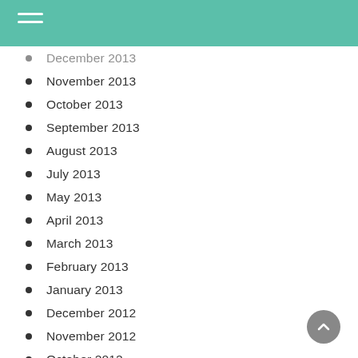December 2013
November 2013
October 2013
September 2013
August 2013
July 2013
May 2013
April 2013
March 2013
February 2013
January 2013
December 2012
November 2012
October 2012
September 2012
August 2012
July 2012
June 2012